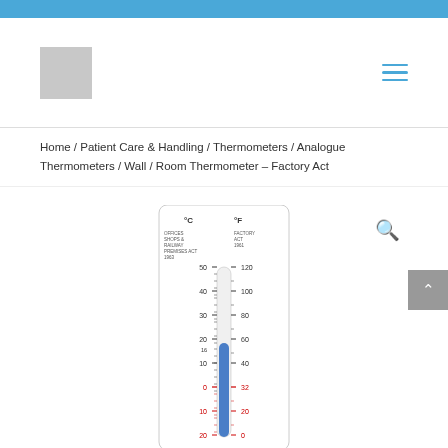[Figure (logo): Gray square logo placeholder with hamburger menu icon on right]
Home / Patient Care & Handling / Thermometers / Analogue Thermometers / Wall / Room Thermometer – Factory Act
[Figure (photo): Wall thermometer showing dual scale °C and °F, with labels for OFFICES SHOPS & RAILWAY PREMISES ACT 1963 and FACTORY ACT 1961, scale from -20 to 50°C and 0 to 120°F, with blue liquid column]